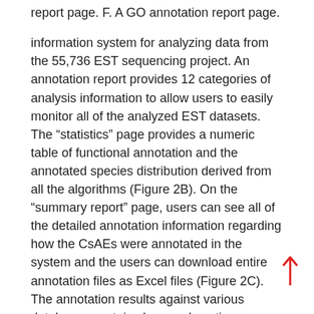report page. F. A GO annotation report page.
information system for analyzing data from the 55,736 EST sequencing project. An annotation report provides 12 categories of analysis information to allow users to easily monitor all of the analyzed EST datasets. The “statistics” page provides a numeric table of functional annotation and the annotated species distribution derived from all the algorithms (Figure 2B). On the “summary report” page, users can see all of the detailed annotation information regarding how the CsAEs were annotated in the system and the users can download entire annotation files as Excel files (Figure 2C). The annotation results against various databases contain clone and contig information,
including the sequence, putative identification, annotation detailed information, a link to the nearest homologue in the public database, the length of the homologous sequence and the percentage identity of the nearest match. In addition, existing information for all CsAEs in an EST set can be retrieved using full-text matching (against read id, consensus id, gene name, gene accession number, functional description and E-value score) from the search